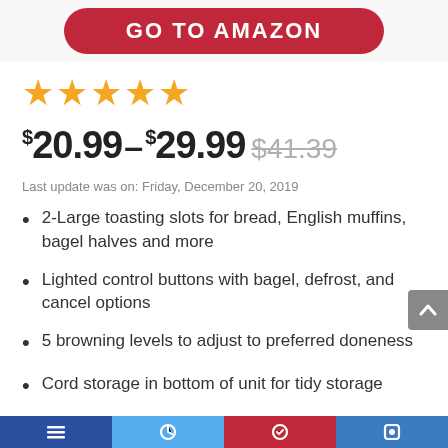[Figure (other): Red rounded button with white bold text 'GO TO AMAZON']
★★★★★
$20.99–$29.99 $41.39
Last update was on: Friday, December 20, 2019
2-Large toasting slots for bread, English muffins, bagel halves and more
Lighted control buttons with bagel, defrost, and cancel options
5 browning levels to adjust to preferred doneness
Cord storage in bottom of unit for tidy storage
Slide-out crumb tray for easy cleanup
[Figure (other): Bottom navigation bar with four colored sections: dark blue, light blue, red, medium blue with social/share icons]